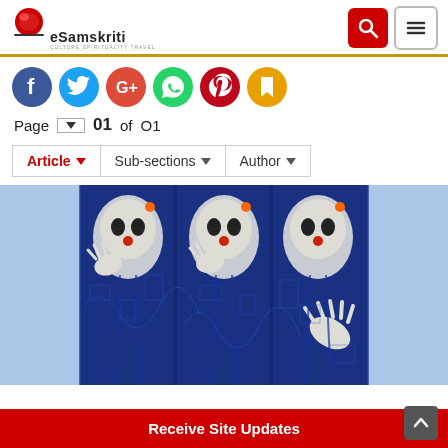eSamskriti — CULTURE SPIRITUALITY TRAVEL
[Figure (screenshot): Social media share icons: Facebook (blue), Twitter (blue), Google+ (red), WhatsApp (green), Pinterest (red), Bookmark (orange)]
Page 01 of 01
Article ▾  Sub-sections ▾  Author ▾
[Figure (illustration): Artwork painting showing three ghostly white figures with dark eyes and red noses against a deep blue background with intricate patterns]
Receive Site Updates